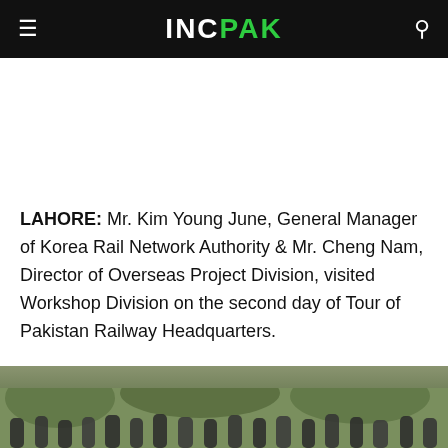INC PAK
LAHORE: Mr. Kim Young June, General Manager of Korea Rail Network Authority & Mr. Cheng Nam, Director of Overseas Project Division, visited Workshop Division on the second day of Tour of Pakistan Railway Headquarters.
[Figure (photo): Group of officials photographed outdoors, likely at Pakistan Railway Headquarters during the visit by Korean delegation.]